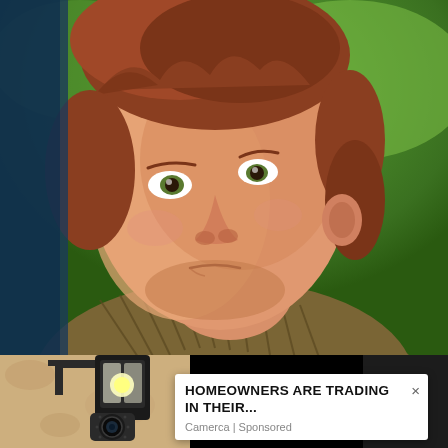[Figure (photo): Close-up photo of a young boy with reddish-brown hair wearing a knitted sweater, looking upward with a distressed or sad expression. Green bokeh background.]
[Figure (photo): Bottom left: photo of a wall-mounted outdoor lantern light fixture with a security camera attached to it, against a tan stucco wall.]
HOMEOWNERS ARE TRADING IN THEIR...
Camerca | Sponsored